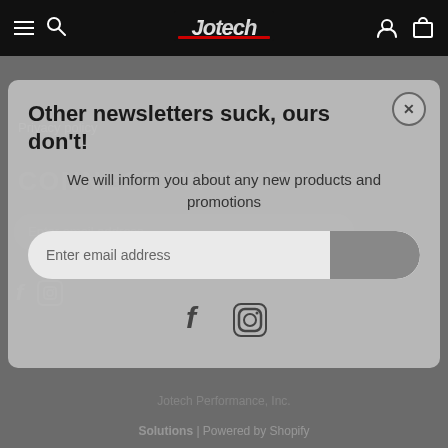Jotech Performance navigation bar with hamburger menu, search, logo, account and cart icons
Privacy policy
CONNECT WITH US
[Figure (screenshot): Newsletter signup modal overlay on Jotech Performance website. Modal title: 'Other newsletters suck, ours don't!' Subtitle: 'We will inform you about any new products and promotions'. Email input field with submit button. Facebook and Instagram social icons below.]
Enter email address
Jotech Performance, Inc.
Solutions | Powered by Shopify